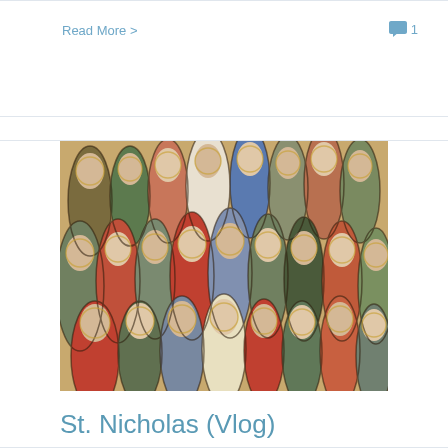Read More >
1
[Figure (illustration): Colorful stylized illustration of a large crowd of robed figures, rendered in an expressionistic style with bold outlines and warm earthy tones mixed with red, blue, and green garments. Appears to depict saints or biblical figures.]
St. Nicholas (Vlog)
By Springs in the Desert Author | December 6